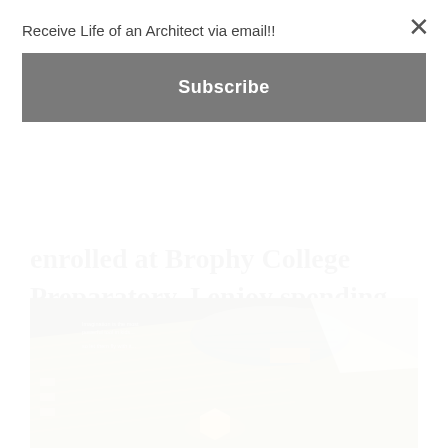enrolled at Brophy College Preparatory. I enjoy spending time in California at the beach, playing basketball, and reading.
[Figure (photo): Aerial architectural rendering of a building with a dome/round roof structure and angled geometric forms, illuminated at night with warm lighting. Text overlay reads: 'Imagination is the most powerful tool in kids... so let them fly with it.']
Receive Life of an Architect via email!!
Subscribe